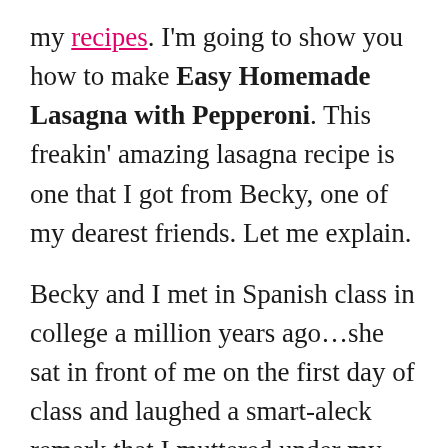my recipes.  I'm going to show you how to make Easy Homemade Lasagna with Pepperoni.  This freakin' amazing lasagna recipe is one that I got from Becky, one of my dearest friends. Let me explain.
Becky and I met in Spanish class in college a million years ago…she sat in front of me on the first day of class and laughed a smart-aleck remark that I muttered under my breath.  We've been great friends ever since.   Love that girl.
But I digress.  you want to know how to